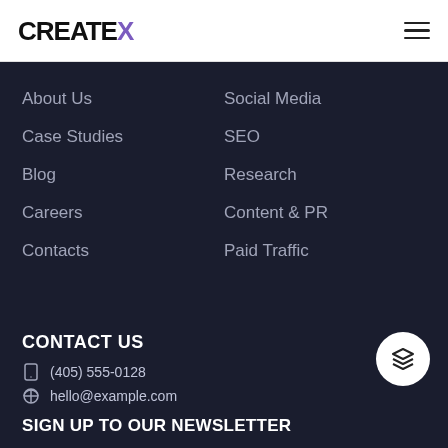CREATEX
About Us
Social Media
Case Studies
SEO
Blog
Research
Careers
Content & PR
Contacts
Paid Traffic
CONTACT US
(405) 555-0128
hello@example.com
SIGN UP TO OUR NEWSLETTER
Email address*